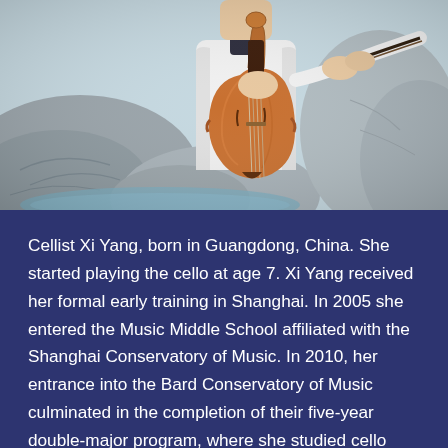[Figure (photo): A cellist (Xi Yang) in a white outfit holding a cello and bow outdoors, standing near large rocks and a pool of water. The cello is a warm brown/amber color. The background shows grey rocks and blue-green water.]
Cellist Xi Yang, born in Guangdong, China. She started playing the cello at age 7. Xi Yang received her formal early training in Shanghai. In 2005 she entered the Music Middle School affiliated with the Shanghai Conservatory of Music. In 2010, her entrance into the Bard Conservatory of Music culminated in the completion of their five-year double-major program, where she studied cello with Peter